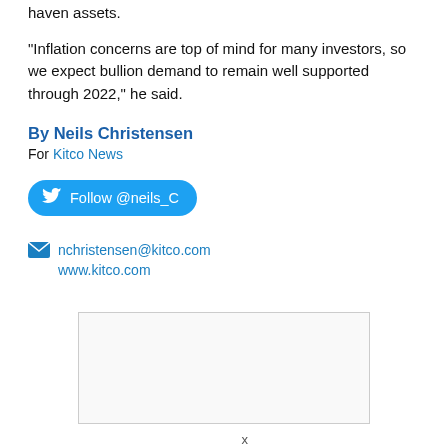haven assets.
“Inflation concerns are top of mind for many investors, so we expect bullion demand to remain well supported through 2022,” he said.
By Neils Christensen
For Kitco News
[Figure (other): Twitter follow button with bird icon reading 'Follow @neils_C']
nchristensen@kitco.com
www.kitco.com
[Figure (other): Advertisement box with close X button]